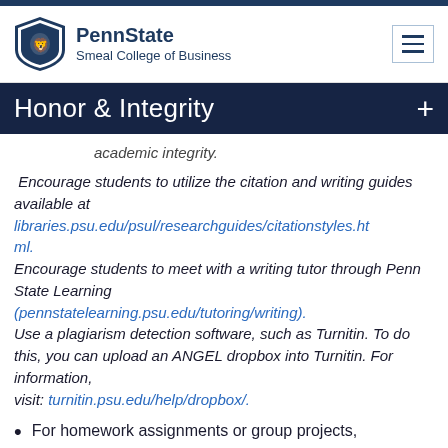PennState Smeal College of Business
Honor & Integrity
academic integrity.
Encourage students to utilize the citation and writing guides available at libraries.psu.edu/psul/researchguides/citationstyles.html.
Encourage students to meet with a writing tutor through Penn State Learning (pennstatelearning.psu.edu/tutoring/writing).
Use a plagiarism detection software, such as Turnitin. To do this, you can upload an ANGEL dropbox into Turnitin. For information, visit: turnitin.psu.edu/help/dropbox/.
For homework assignments or group projects,